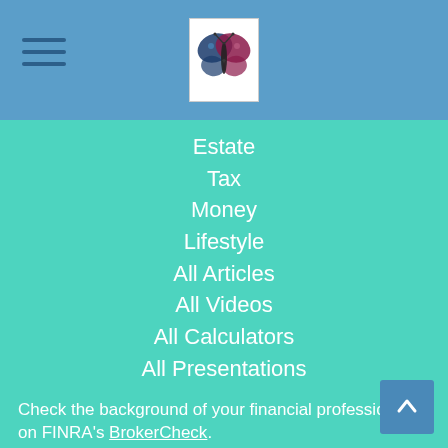[Figure (logo): Butterfly logo on white background in blue header bar]
Estate
Tax
Money
Lifestyle
All Articles
All Videos
All Calculators
All Presentations
Check the background of your financial professional on FINRA's BrokerCheck.
The content is developed from sources believed to be providing accurate information. The information in this material is not intended as tax or legal advice. Please consult legal or tax professionals for specific